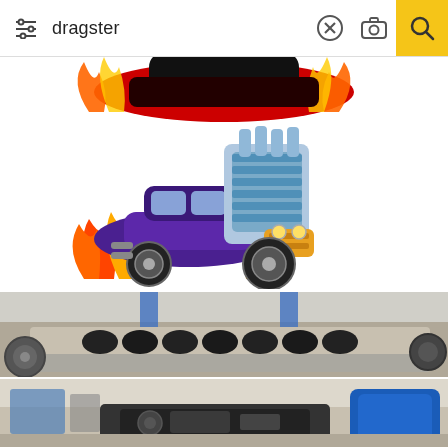[Figure (screenshot): Mobile search bar with filter icon on left, search query 'dragster', clear (X) button, camera icon, and yellow search magnifier button on right]
[Figure (illustration): Partial top view of a cartoon dragster car with flames, cropped at top]
[Figure (illustration): Cartoon illustration of a classic hot rod muscle car with oversized supercharged engine, flames, large rear tires, purple and orange color scheme]
[Figure (photo): Photograph of a dragster engine block showing camshaft and cylinder head components in a garage/workshop setting]
[Figure (photo): Photograph of dragster drivetrain/transmission components on a workshop floor with blue barrel visible]